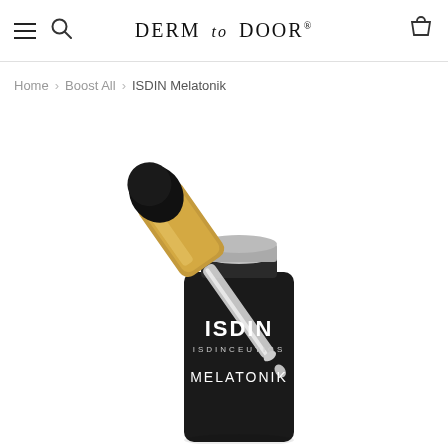DERM to DOOR®
Home > Boost All > ISDIN Melatonik
[Figure (photo): ISDIN Isdinceutics Melatonik serum bottle in black with gold dropper cap, dropper removed and held above the bottle at an angle, with a drop of serum falling from the dropper tip. White background.]